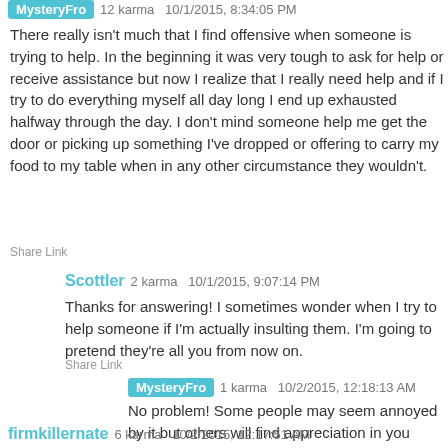MysteryFro 12 karma 10/1/2015, 8:34:05 PM
There really isn't much that I find offensive when someone is trying to help. In the beginning it was very tough to ask for help or receive assistance but now I realize that I really need help and if I try to do everything myself all day long I end up exhausted halfway through the day. I don't mind someone help me get the door or picking up something I've dropped or offering to carry my food to my table when in any other circumstance they wouldn't.
Share Link
Scottler 2 karma 10/1/2015, 9:07:14 PM
Thanks for answering! I sometimes wonder when I try to help someone if I'm actually insulting them. I'm going to pretend they're all you from now on.
Share Link
MysteryFro 1 karma 10/2/2015, 12:18:13 AM
No problem! Some people may seem annoyed by it but others will find appreciation in you giving them help.
Share Link
firmkillernate 6 karma 10/2/2015, 12:17:51 AM